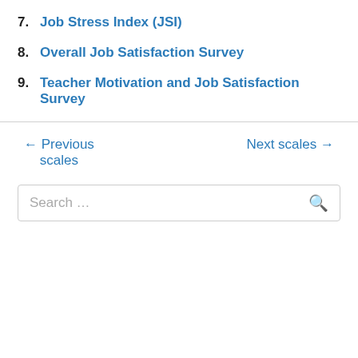7. Job Stress Index (JSI)
8. Overall Job Satisfaction Survey
9. Teacher Motivation and Job Satisfaction Survey
← Previous scales
Next scales →
Search ...